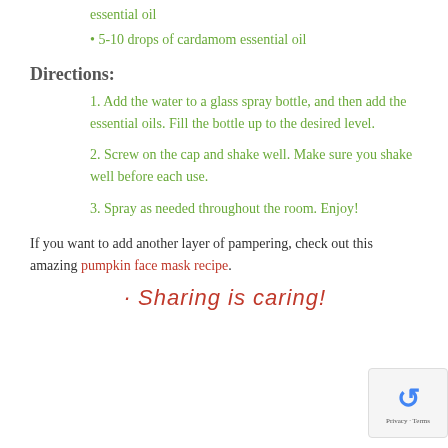essential oil
• 5-10 drops of cardamom essential oil
Directions:
1. Add the water to a glass spray bottle, and then add the essential oils. Fill the bottle up to the desired level.
2. Screw on the cap and shake well. Make sure you shake well before each use.
3. Spray as needed throughout the room. Enjoy!
If you want to add another layer of pampering, check out this amazing pumpkin face mask recipe.
· Sharing is caring!